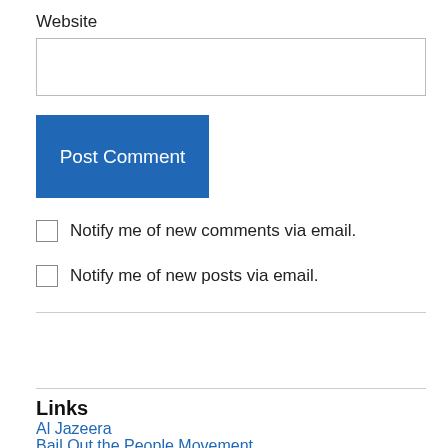Website
Post Comment
Notify me of new comments via email.
Notify me of new posts via email.
Links
Al Jazeera
Bail Out the People Movement
Committee To Stop FBI Repression